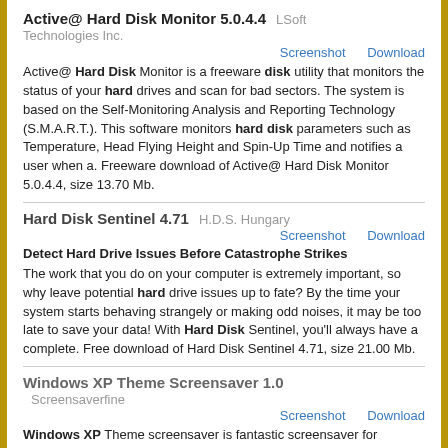Active@ Hard Disk Monitor 5.0.4.4   LSoft Technologies Inc.
Screenshot   Download
Active@ Hard Disk Monitor is a freeware disk utility that monitors the status of your hard drives and scan for bad sectors. The system is based on the Self-Monitoring Analysis and Reporting Technology (S.M.A.R.T.). This software monitors hard disk parameters such as Temperature, Head Flying Height and Spin-Up Time and notifies a user when a. Freeware download of Active@ Hard Disk Monitor 5.0.4.4, size 13.70 Mb.
Hard Disk Sentinel 4.71   H.D.S. Hungary
Screenshot   Download
Detect Hard Drive Issues Before Catastrophe Strikes
The work that you do on your computer is extremely important, so why leave potential hard drive issues up to fate? By the time your system starts behaving strangely or making odd noises, it may be too late to save your data! With Hard Disk Sentinel, you'll always have a complete. Free download of Hard Disk Sentinel 4.71, size 21.00 Mb.
Windows XP Theme Screensaver 1.0
Screensaverfine
Screenshot   Download
Windows XP Theme screensaver is fantastic screensaver for windows XP Operating system. This screensaver make with huge windows XP theme image and excellent effects. This XP theme screensaver is full free of any charge. Download this software and enjoy.